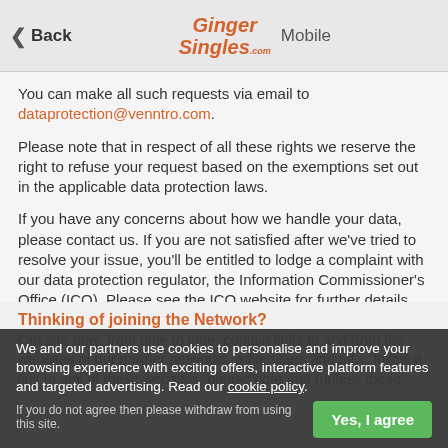Back | Ginger Singles Mobile
You can make all such requests via email to dataprotection@venntro.com.
Please note that in respect of all these rights we reserve the right to refuse your request based on the exemptions set out in the applicable data protection laws.
If you have any concerns about how we handle your data, please contact us. If you are not satisfied after we've tried to resolve your issue, you'll be entitled to lodge a complaint with our data protection regulator, the Information Commissioner's Office (ICO). Please see the ICO website for further details, https://www.ico.org.uk.
Thinking of joining the Network?
Our site may, from time to time, contain links to and from the websites of our partner networks, advertisers and aff... follow a link to any of these websites, please note that (unless these
We and our partners use cookies to personalise and improve your browsing experience with exciting offers, interactive platform features and targeted advertising. Read our cookie policy.
If you do not agree then please withdraw from using this site.